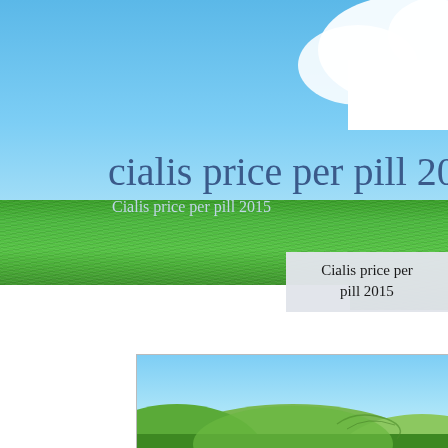[Figure (illustration): Banner image with blue sky background, white cloud in upper right, green grass strip at bottom. Large overlay text reads 'cialis price per pill 2015' in dark blue, with subtitle 'Cialis price per pill 2015' in lighter color. A gray info box at bottom right reads 'Cialis price per pill 2015'.]
cialis price per pill 2015
Cialis price per pill 2015
Cialis price per pill 2015
[Figure (photo): Photograph of rolling green hills under a blue sky, shown in a bordered rectangular panel.]